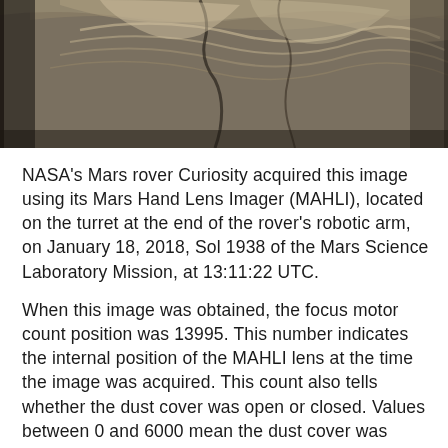[Figure (photo): Close-up photograph of Mars rock surface taken by NASA Curiosity rover's MAHLI camera, showing layered sedimentary rock texture in tan, brown, and gray tones]
NASA's Mars rover Curiosity acquired this image using its Mars Hand Lens Imager (MAHLI), located on the turret at the end of the rover's robotic arm, on January 18, 2018, Sol 1938 of the Mars Science Laboratory Mission, at 13:11:22 UTC.
When this image was obtained, the focus motor count position was 13995. This number indicates the internal position of the MAHLI lens at the time the image was acquired. This count also tells whether the dust cover was open or closed. Values between 0 and 6000 mean the dust cover was closed; values between 12500 and 16000 occur when the cover is open. For close-up images, the motor count can in some cases be used to estimate the distance between the MAHLI lens and target. For example, in-focus images obtained with the dust cover open for which the lens